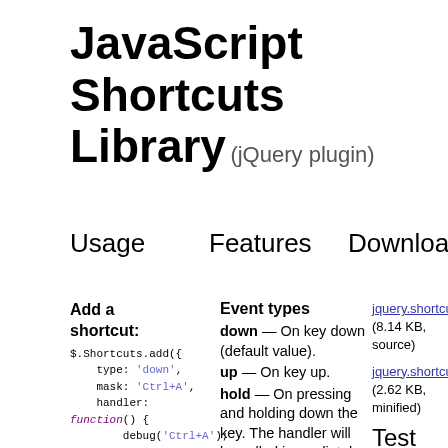JavaScript Shortcuts Library (jQuery plugin)
Usage
Features
Download
Add a shortcut:
$.Shortcuts.add({
    type: 'down',
    mask: 'Ctrl+A',
    handler: function() {
        debug('Ctrl+A');
    }
});
Start reacting to shortcuts:
$.Shortcuts.start
Event types
down — On key down (default value).
up — On key up.
hold — On pressing and holding down the key. The handler will be called immediately after pressing the key and then
jquery.shortcuts.js
(8.14 KB, source)
jquery.shortcuts.min.
(2.62 KB, minified)
Test example
"default" list:

Ctrl+A